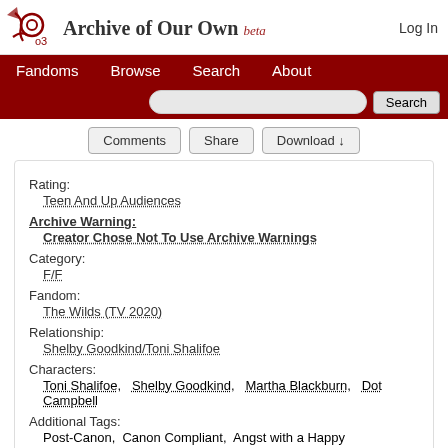Archive of Our Own beta — Log In
Fandoms  Browse  Search  About
Comments  Share  Download ↓
Rating:
Teen And Up Audiences
Archive Warning:
Creator Chose Not To Use Archive Warnings
Category:
F/F
Fandom:
The Wilds (TV 2020)
Relationship:
Shelby Goodkind/Toni Shalifoe
Characters:
Toni Shalifoe,  Shelby Goodkind,  Martha Blackburn,  Dot Campbell
Additional Tags:
Post-Canon,  Canon Compliant,  Angst with a Happy Ending,  These